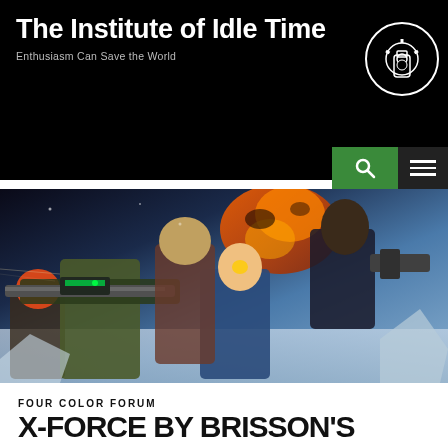The Institute of Idle Time — Enthusiasm Can Save the World
[Figure (illustration): Comic book cover art showing superhero team X-Force with characters holding weapons, fighting scene with orange explosions and icy background]
FOUR COLOR FORUM
X-FORCE BY BRISSON'S